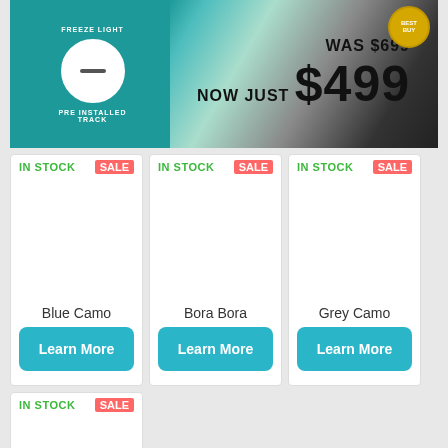[Figure (photo): Product banner showing a dark electronic device on teal/turquoise background with pricing text: WAS $699 NOW JUST $499. Left side shows a circular track feature and 'PRE INSTALLED TRACK' text.]
IN STOCK   SALE
Blue Camo
Learn More
IN STOCK   SALE
Bora Bora
Learn More
IN STOCK   SALE
Grey Camo
Learn More
IN STOCK   SALE